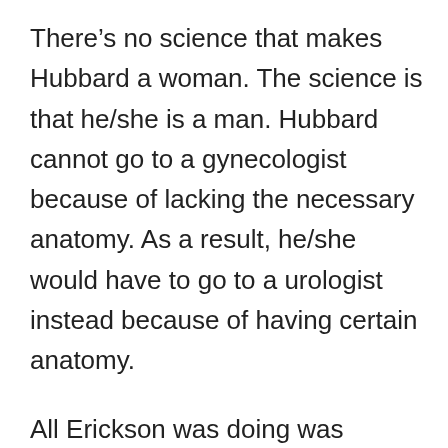There’s no science that makes Hubbard a woman. The science is that he/she is a man. Hubbard cannot go to a gynecologist because of lacking the necessary anatomy. As a result, he/she would have to go to a urologist instead because of having certain anatomy.
All Erickson was doing was identifying a scientific fact. Although Twitter and plenty of trans/gender activists aren’t happy with it, the reality is that it is based solely on science.
Erickson isn’t the only one to have a Twitter account suspended over scientific facts shared